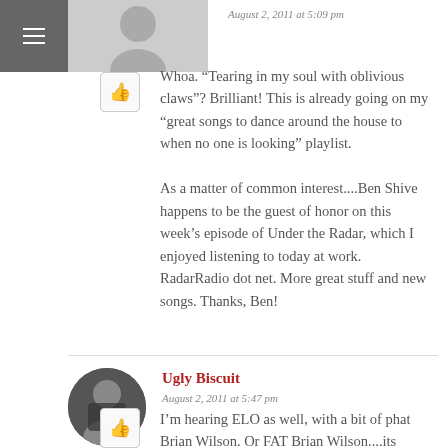August 2, 2011 at 5:09 pm
Whoa. “Tearing in my soul with oblivious claws”? Brilliant! This is already going on my “great songs to dance around the house to when no one is looking” playlist.

As a matter of common interest....Ben Shive happens to be the guest of honor on this week’s episode of Under the Radar, which I enjoyed listening to today at work. RadarRadio dot net. More great stuff and new songs. Thanks, Ben!
Ugly Biscuit
August 2, 2011 at 5:47 pm
I’m hearing ELO as well, with a bit of phat Brian Wilson. Or FAT Brian Wilson....its which